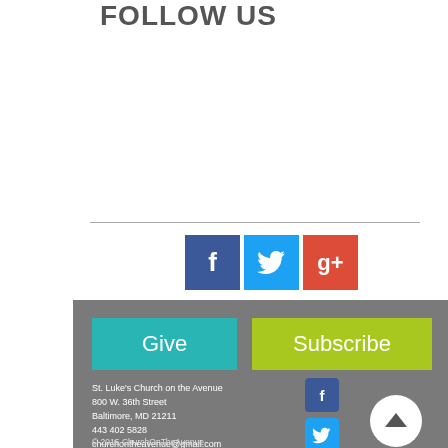FOLLOW US
[Figure (illustration): Social media icons row: Facebook (blue square with f), Twitter (light blue square with bird), Google+ (red square with g+)]
[Figure (infographic): Footer section with dark gray background containing Give (teal) and Subscribe (yellow-green) buttons, church address info, social media icons (Facebook, Twitter), and scroll-up button]
St. Luke's Church on the Avenue
800 W. 36th Street
Baltimore, MD 21211
443 402 5828
churchontheavenue@gmail.com
© 2015 ChurchOnTheAvenue